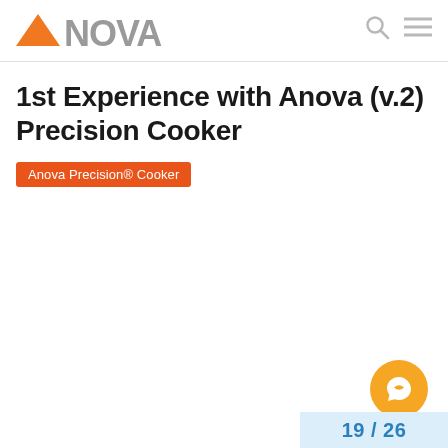ANOVA
1st Experience with Anova (v.2) Precision Cooker
Anova Precision® Cooker
19 / 26